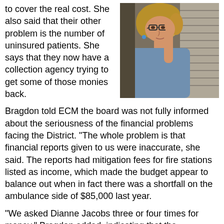to cover the real cost. She also said that their other problem is the number of uninsured patients. She says that they now have a collection agency trying to get some of those monies back.
[Figure (photo): A woman with curly blonde hair and glasses gesturing with her hand, speaking, wearing a blue shirt, photographed indoors near window blinds.]
Bragdon told ECM the board was not fully informed about the seriousness of the financial problems facing the District. “The whole problem is that financial reports given to us were inaccurate, she said. The reports had mitigation fees for fire stations listed as income, which made the budget appear to balance out when in fact there was a shortfall on the ambulance side of $85,000 last year.
“We asked Dianne Jacobs three or four times for money,” Bragdon added, indicating that the Supervisor had not been responsive.